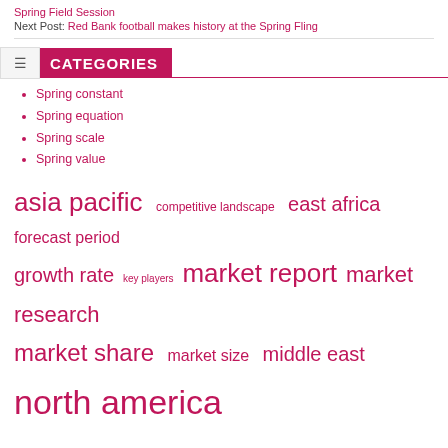Spring Field Session
Next Post: Red Bank football makes history at the Spring Fling
CATEGORIES
Spring constant
Spring equation
Spring scale
Spring value
asia pacific  competitive landscape  east africa  forecast period  growth rate  key players  market report  market research  market share  market size  middle east  north america  report covers  research report  united states